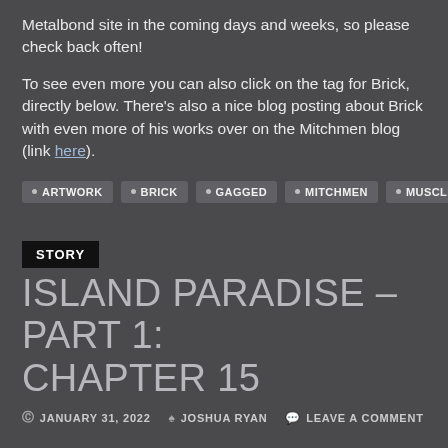Metalbond site in the coming days and weeks, so please check back often!
To see even more you can also click on the tag for Brick, directly below. There's also a nice blog posting about Brick with even more of his works over on the Mitchmen blog (link here).
ARTWORK
BRICK
GAGGED
MITCHMEN
MUSCLE
STORY
ISLAND PARADISE – PART 1: CHAPTER 15
JANUARY 31, 2022  JOSHUA RYAN  LEAVE A COMMENT